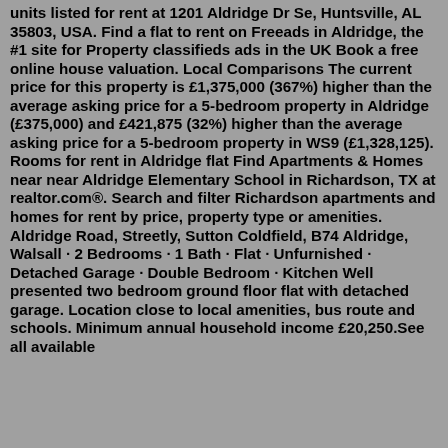units listed for rent at 1201 Aldridge Dr Se, Huntsville, AL 35803, USA. Find a flat to rent on Freeads in Aldridge, the #1 site for Property classifieds ads in the UK Book a free online house valuation. Local Comparisons The current price for this property is £1,375,000 (367%) higher than the average asking price for a 5-bedroom property in Aldridge (£375,000) and £421,875 (32%) higher than the average asking price for a 5-bedroom property in WS9 (£1,328,125). Rooms for rent in Aldridge flat Find Apartments & Homes near near Aldridge Elementary School in Richardson, TX at realtor.com®. Search and filter Richardson apartments and homes for rent by price, property type or amenities. Aldridge Road, Streetly, Sutton Coldfield, B74 Aldridge, Walsall · 2 Bedrooms · 1 Bath · Flat · Unfurnished · Detached Garage · Double Bedroom · Kitchen Well presented two bedroom ground floor flat with detached garage. Location close to local amenities, bus route and schools. Minimum annual household income £20,250.See all available